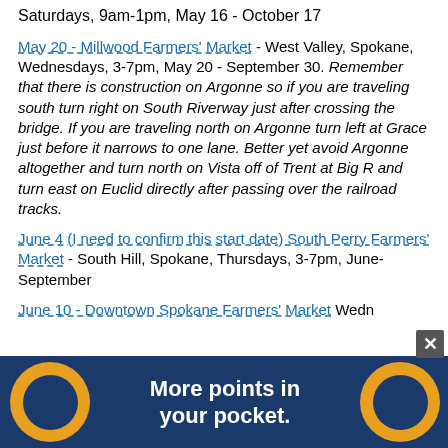Saturdays, 9am-1pm, May 16 - October 17
May 20 - Millwood Farmers' Market - West Valley, Spokane, Wednesdays, 3-7pm, May 20 - September 30. Remember that there is construction on Argonne so if you are traveling south turn right on South Riverway just after crossing the bridge. If you are traveling north on Argonne turn left at Grace just before it narrows to one lane. Better yet avoid Argonne altogether and turn north on Vista off of Trent at Big R and turn east on Euclid directly after passing over the railroad tracks.
June 4 (I need to confirm this start date) South Perry Farmers' Market - South Hill, Spokane, Thursdays, 3-7pm, June-September
June 10 - Downtown Spokane Farmers' Market - Wednesdays
[Figure (infographic): Blue advertisement banner with orange circles on left and right, text 'More points in your pocket.' with a close button (x) in the top right corner.]